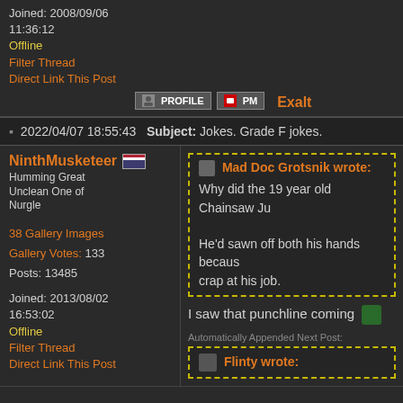Joined: 2008/09/06 11:36:12
Offline
Filter Thread
Direct Link This Post
Exalt
2022/04/07 18:55:43  Subject: Jokes. Grade F jokes.
NinthMusketeer
Humming Great Unclean One of Nurgle
38 Gallery Images
Gallery Votes: 133
Posts: 13485
Joined: 2013/08/02 16:53:02
Offline
Filter Thread
Direct Link This Post
Mad Doc Grotsnik wrote:
Why did the 19 year old Chainsaw Ju
He'd sawn off both his hands because crap at his job.
I saw that punchline coming
Automatically Appended Next Post:
Flinty wrote: